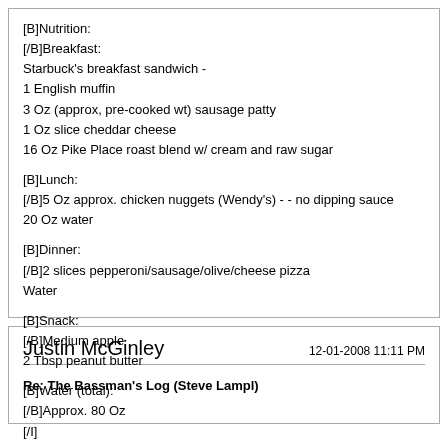[B]Nutrition:
[/B]Breakfast:
Starbuck's breakfast sandwich -
1 English muffin
3 Oz (approx, pre-cooked wt) sausage patty
1 Oz slice cheddar cheese
16 Oz Pike Place roast blend w/ cream and raw sugar

[B]Lunch:
[/B]5 Oz approx. chicken nuggets (Wendy's) - - no dipping sauce
20 Oz water

[B]Dinner:
[/B]2 slices pepperoni/sausage/olive/cheese pizza
Water

[B]Snack:
[/B]Medium apple
2 Tbsp peanut butter

[B]Water (total):
[/B]Approx. 80 Oz
[/I]
Justin McGinley    12-01-2008 11:11 PM
Re: The Bassman's Log (Steve Lampl)